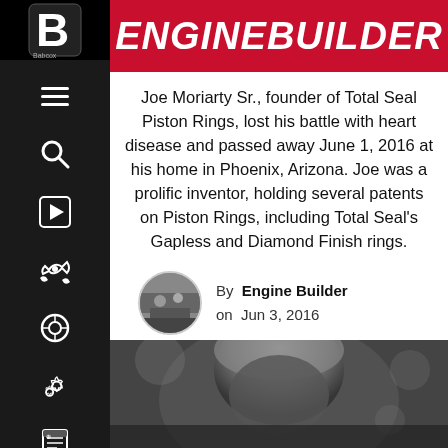ENGINE BUILDER
Joe Moriarty Sr., founder of Total Seal Piston Rings, lost his battle with heart disease and passed away June 1, 2016 at his home in Phoenix, Arizona. Joe was a prolific inventor, holding several patents on Piston Rings, including Total Seal's Gapless and Diamond Finish rings.
By Engine Builder on Jun 3, 2016
[Figure (photo): Black and white close-up photo of a person (Joe Moriarty Sr.) partially visible at the bottom of the page]